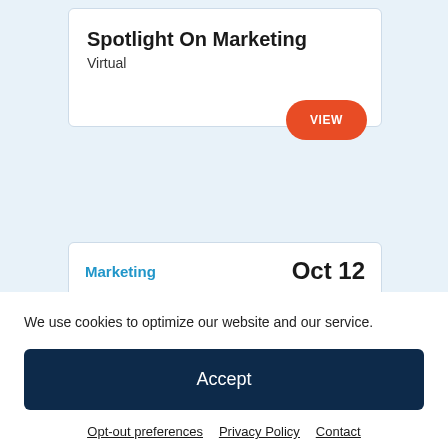Spotlight On Marketing
Virtual
VIEW
Marketing
Oct 12
We use cookies to optimize our website and our service.
Accept
Opt-out preferences   Privacy Policy   Contact